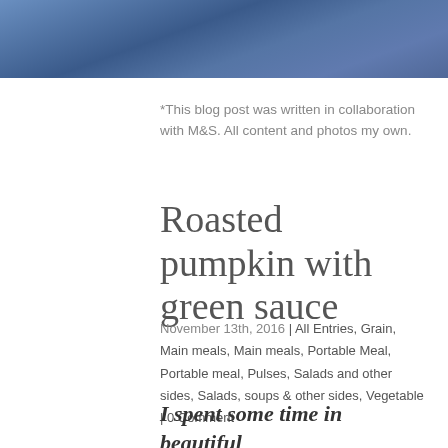[Figure (photo): Partial blue fabric/textile photo banner at top of page]
*This blog post was written in collaboration with M&S. All content and photos my own.
Roasted pumpkin with green sauce
November 13th, 2016 | All Entries, Grain, Main meals, Main meals, Portable Meal, Portable meal, Pulses, Salads and other sides, Salads, soups & other sides, Vegetable | 0 Comment
I spent some time in beautiful